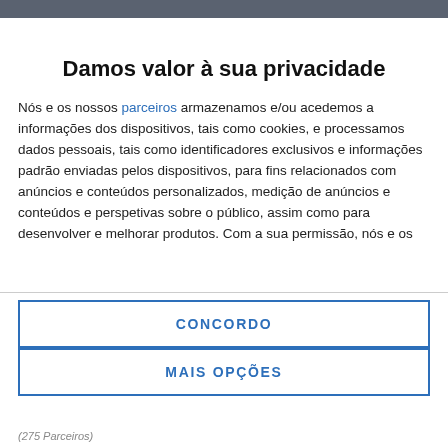Damos valor à sua privacidade
Nós e os nossos parceiros armazenamos e/ou acedemos a informações dos dispositivos, tais como cookies, e processamos dados pessoais, tais como identificadores exclusivos e informações padrão enviadas pelos dispositivos, para fins relacionados com anúncios e conteúdos personalizados, medição de anúncios e conteúdos e perspetivas sobre o público, assim como para desenvolver e melhorar produtos. Com a sua permissão, nós e os
CONCORDO
MAIS OPÇÕES
(275 Parceiros)